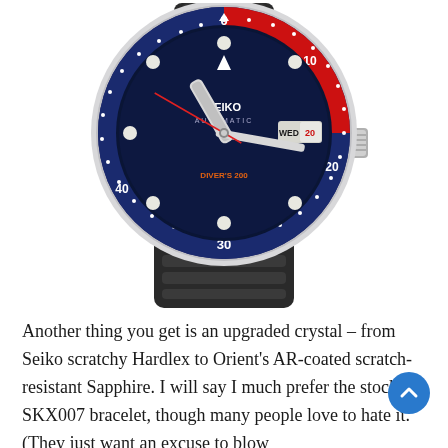[Figure (photo): Seiko SKX007 diver's watch with blue-red 'Pepsi' bezel, dark navy dial showing SEIKO AUTOMATIC and DIVER'S 200, day-date window reading WED 20, luminous hands and markers, stainless steel case, black rubber/silicone strap with ridged texture.]
Another thing you get is an upgraded crystal – from Seiko scratchy Hardlex to Orient's AR-coated scratch-resistant Sapphire. I will say I much prefer the stock SKX007 bracelet, though many people love to hate it. (They just want an excuse to blow